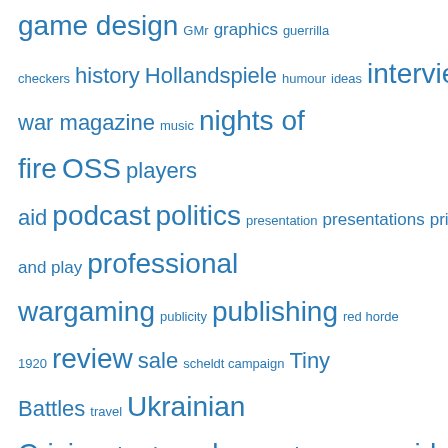game design GMr graphics guerrilla checkers history Hollandspiele humour ideas interview kandahar kickstarter learning lebanon maracas meetings modern war magazine music nights of fire OSS players aid podcast politics presentation presentations print and play professional wargaming publicity publishing red horde 1920 review sale scheldt campaign Tiny Battles travel Ukrainian Crisis unboxing urban variants VASSAL video wargame wargames winter thunder work in progress writing yaah magazine youtube
Pages
About me and this blog
BTR Games